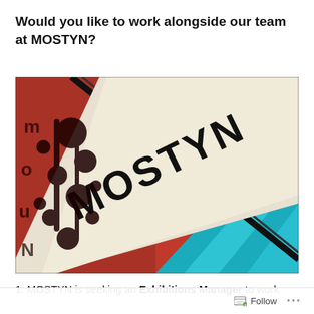Would you like to work alongside our team at MOSTYN?
[Figure (photo): Close-up photo of the MOSTYN gallery sign — a diagonal cream/white banner with 'MOSTYN' in large black letters, set against a red ornamental background on the left and bright teal/turquoise diagonal stripes on the right.]
1. MOSTYN is seeking an Exhibitions Manager to work